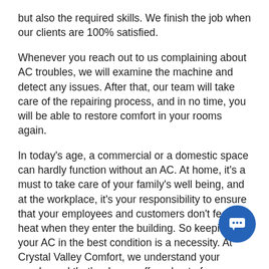but also the required skills. We finish the job when our clients are 100% satisfied.
Whenever you reach out to us complaining about AC troubles, we will examine the machine and detect any issues. After that, our team will take care of the repairing process, and in no time, you will be able to restore comfort in your rooms again.
In today's age, a commercial or a domestic space can hardly function without an AC. At home, it's a must to take care of your family's well being, and at the workplace, it's your responsibility to ensure that your employees and customers don't feel the heat when they enter the building. So keeping your AC in the best condition is a necessity. At Crystal Valley Comfort, we understand your needs, and that's why we offer a host of convenient and reasonably priced services that allow you to retain the comfort of your home or business space.
Since we have been in this business for decades, we know how crucial a task is to repair your AC. A single flaw, and the machine will break down entirely. So if you don't want to